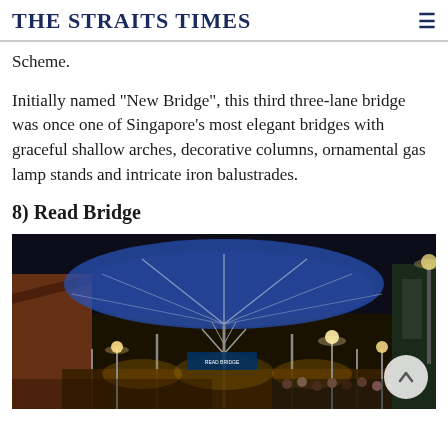THE STRAITS TIMES
Scheme.
Initially named "New Bridge", this third three-lane bridge was once one of Singapore's most elegant bridges with graceful shallow arches, decorative columns, ornamental gas lamp stands and intricate iron balustrades.
8) Read Bridge
[Figure (photo): Nighttime photograph of Read Bridge area with illuminated tree-like structural supports and glass canopy, crowds of people and warm lighting from lamp posts and surrounding buildings.]